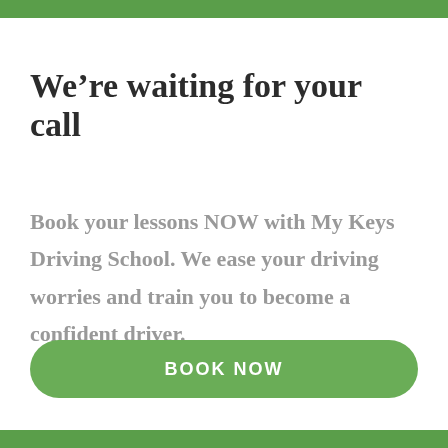We're waiting for your call
Book your lessons NOW with My Keys Driving School. We ease your driving worries and train you to become a confident driver.
BOOK NOW